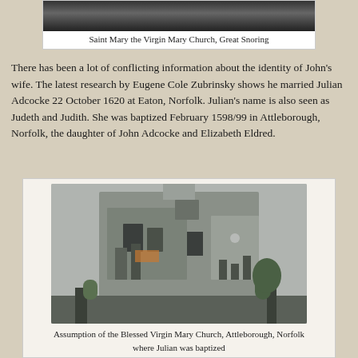[Figure (photo): Black and white photograph of Saint Mary the Virgin Mary Church, Great Snoring]
Saint Mary the Virgin Mary Church, Great Snoring
There has been a lot of conflicting information about the identity of John's wife. The latest research by Eugene Cole Zubrinsky shows he married Julian Adcocke 22 October 1620 at Eaton, Norfolk. Julian's name is also seen as Judeth and Judith. She was baptized February 1598/99 in Attleborough, Norfolk, the daughter of John Adcocke and Elizabeth Eldred.
[Figure (photo): Color photograph of Assumption of the Blessed Virgin Mary Church, Attleborough, Norfolk where Julian was baptized]
Assumption of the Blessed Virgin Mary Church, Attleborough, Norfolk where Julian was baptized